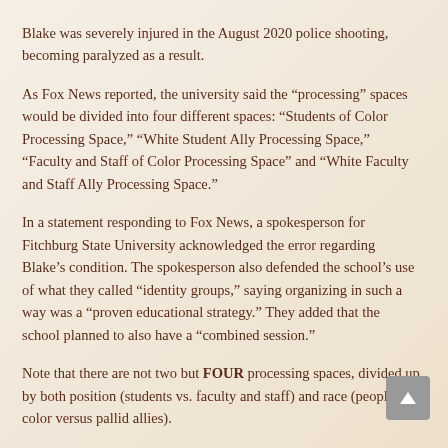Blake was severely injured in the August 2020 police shooting, becoming paralyzed as a result.
As Fox News reported, the university said the “processing” spaces would be divided into four different spaces: “Students of Color Processing Space,” “White Student Ally Processing Space,” “Faculty and Staff of Color Processing Space” and “White Faculty and Staff Ally Processing Space.”
In a statement responding to Fox News, a spokesperson for Fitchburg State University acknowledged the error regarding Blake's condition. The spokesperson also defended the school's use of what they called “identity groups,” saying organizing in such a way was a “proven educational strategy.” They added that the school planned to also have a “combined session.”
Note that there are not two but FOUR processing spaces, divided up by both position (students vs. faculty and staff) and race (people of color versus pallid allies).